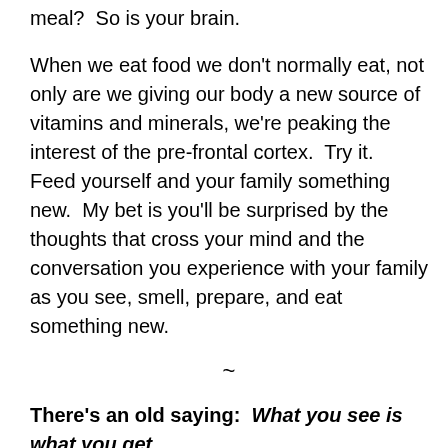meal?  So is your brain.
When we eat food we don't normally eat, not only are we giving our body a new source of vitamins and minerals, we're peaking the interest of the pre-frontal cortex.  Try it.  Feed yourself and your family something new.  My bet is you'll be surprised by the thoughts that cross your mind and the conversation you experience with your family as you see, smell, prepare, and eat something new.
~
There's an old saying:  What you see is what you get.
When we see and experience the same old day after day, we reside in the limbic system of the brain, which keeps us on auto-pilot.